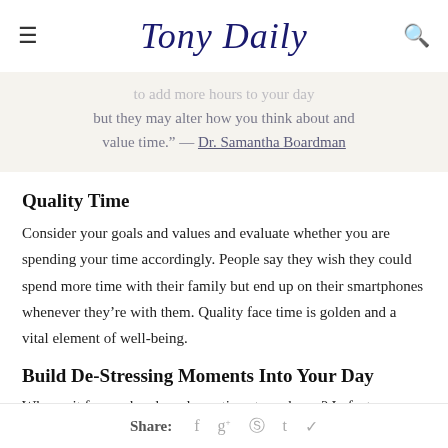Tony Daily
to add more hours to your day but they may alter how you think about and value time." — Dr. Samantha Boardman
Quality Time
Consider your goals and values and evaluate whether you are spending your time accordingly. People say they wish they could spend more time with their family but end up on their smartphones whenever they're with them. Quality face time is golden and a vital element of well-being.
Build De-Stressing Moments Into Your Day
Why wait for weekends and vacations to recharge? In fact, contrary to what most people think, working through lunch
Share: f g+ p t bird